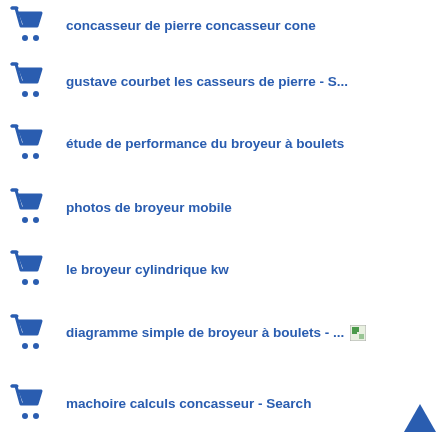concasseur de pierre concasseur cone
gustave courbet les casseurs de pierre - S...
étude de performance du broyeur à boulets
photos de broyeur mobile
le broyeur cylindrique kw
diagramme simple de broyeur à boulets - ...
machoire calculs concasseur - Search